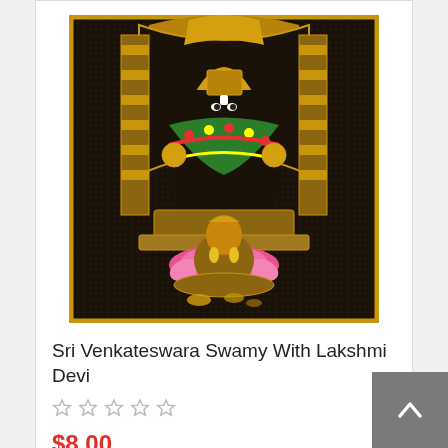[Figure (photo): Religious image of Sri Venkateswara Swamy with Lakshmi Devi — a Hindu deity photograph printed on a dark background with golden frame, showing the deity adorned with garlands and ornaments, with Lakshmi Devi seated at the bottom on a lotus flower.]
Sri Venkateswara Swamy With Lakshmi Devi
★★★★★ (empty stars rating)
$8.00